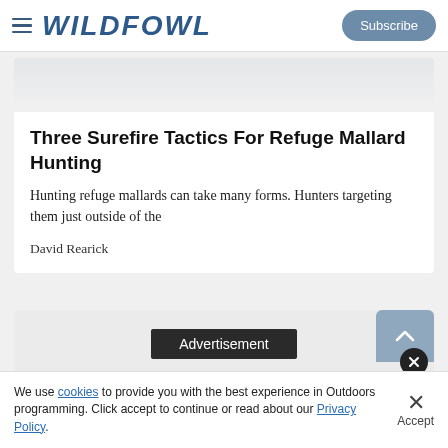WILDFOWL
Three Surefire Tactics For Refuge Mallard Hunting
Hunting refuge mallards can take many forms. Hunters targeting them just outside of the
David Rearick
[Figure (other): Advertisement banner label on gray background]
We use cookies to provide you with the best experience in Outdoors programming. Click accept to continue or read about our Privacy Policy.